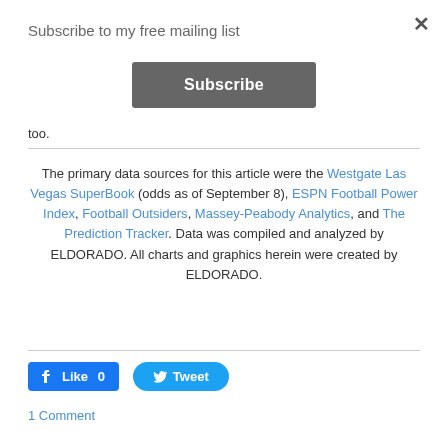Subscribe to my free mailing list
Subscribe
too.
The primary data sources for this article were the Westgate Las Vegas SuperBook (odds as of September 8), ESPN Football Power Index, Football Outsiders, Massey-Peabody Analytics, and The Prediction Tracker. Data was compiled and analyzed by ELDORADO. All charts and graphics herein were created by ELDORADO.
Like 0
Tweet
1 Comment